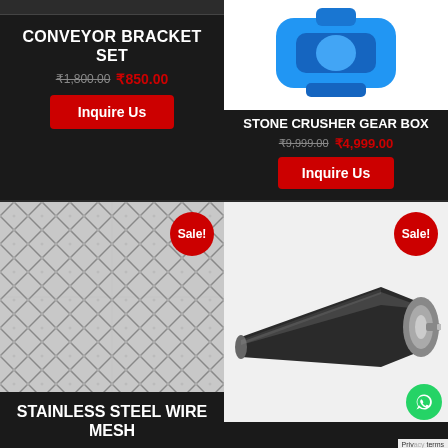[Figure (photo): Conveyor Bracket Set product image (partially visible at top)]
CONVEYOR BRACKET SET
₹1,800.00 ₹850.00
Inquire Us
[Figure (photo): Stone Crusher Gear Box - blue mechanical component]
STONE CRUSHER GEAR BOX
₹9,999.00 ₹4,999.00
Inquire Us
[Figure (photo): Stainless steel wire mesh - woven metallic grid pattern with Sale badge]
STAINLESS STEEL WIRE MESH
[Figure (photo): Black conveyor roller with metal end caps and shaft, with Sale badge]